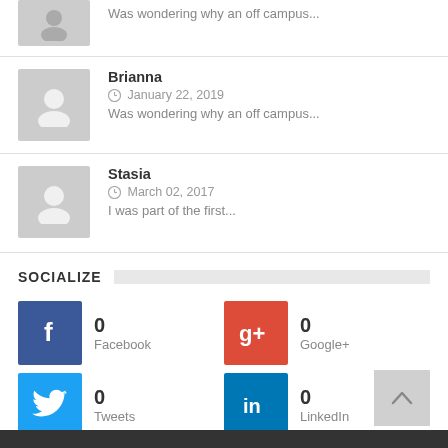Was wondering why an off campus...
Brianna
January 22, 2019
Was wondering why an off campus...
Stasia
March 02, 2017
I was part of the first...
SOCIALIZE
0 Facebook
0 Google+
0 Tweets
0 LinkedIn